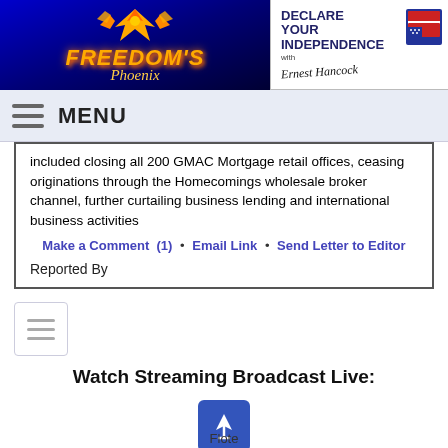[Figure (logo): Freedom's Phoenix logo with phoenix bird graphic and blue background]
[Figure (logo): Declare Your Independence with Ernest Hancock logo]
MENU
included closing all 200 GMAC Mortgage retail offices, ceasing originations through the Homecomings wholesale broker channel, further curtailing business lending and international business activities
Make a Comment (1) • Email Link • Send Letter to Editor
Reported By
[Figure (other): Mini hamburger/menu icon button]
Watch Streaming Broadcast Live:
[Figure (logo): Flote app icon - blue square with anchor/bell symbol]
Flote